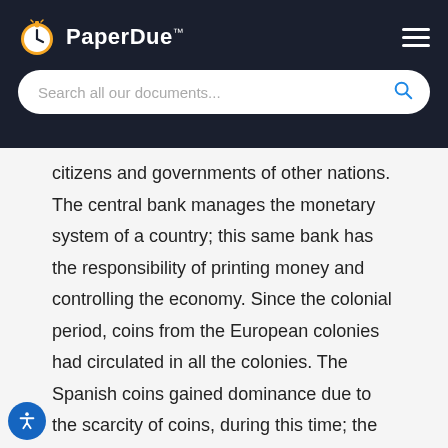PaperDue™
citizens and governments of other nations. The central bank manages the monetary system of a country; this same bank has the responsibility of printing money and controlling the economy. Since the colonial period, coins from the European colonies had circulated in all the colonies. The Spanish coins gained dominance due to the scarcity of coins, during this time; the main form of trade was barter trade. The trade-involved items such as rice, tobacco, or animal skins, which took the form of money paper and notes, had varying rates of discount in different colonies rendering them of even less value (arnold &